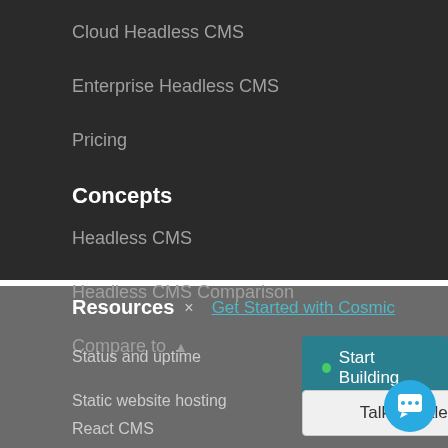Cloud Headless CMS
Enterprise Headless CMS
Pricing
Concepts
Headless CMS
Headless CMS Comparison
Compare to ▲
Resources
Get Started with Cosmic
Status and uptime
● Start Building
Static website hosting
Talk to Sales
React CMS